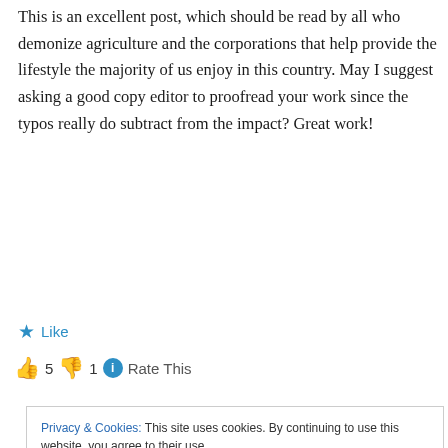This is an excellent post, which should be read by all who demonize agriculture and the corporations that help provide the lifestyle the majority of us enjoy in this country. May I suggest asking a good copy editor to proofread your work since the typos really do subtract from the impact? Great work!
★ Like
👍 5 👎 1 ℹ Rate This
Privacy & Cookies: This site uses cookies. By continuing to use this website, you agree to their use.
To find out more, including how to control cookies, see here: Cookie Policy
Close and accept
advance of agriculture has its origins, that